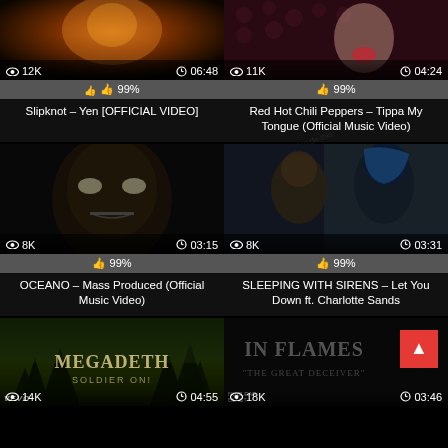[Figure (screenshot): Video thumbnail for Slipknot – Yen [OFFICIAL VIDEO], showing fire/flames on dark background, 12K views, 06:48 duration, 99% likes]
Slipknot – Yen [OFFICIAL VIDEO]
[Figure (screenshot): Video thumbnail for Red Hot Chili Peppers – Tippa My Tongue (Official Music Video), showing woman with red lips on patterned background, 11K views, 04:24 duration, 99% likes]
Red Hot Chili Peppers – Tippa My Tongue (Official Music Video)
[Figure (screenshot): Video thumbnail for OCEANO – Mass Produced (Official Music Video), showing dark close-up face, 8K views, 03:15 duration, 99% likes]
OCEANO – Mass Produced (Official Music Video)
[Figure (screenshot): Video thumbnail for SLEEPING WITH SIRENS – Let You Down ft. Charlotte Sands, showing two people, one with blue hair, 8K views, 03:31 duration, 99% likes]
SLEEPING WITH SIRENS – Let You Down ft. Charlotte Sands
[Figure (screenshot): Video thumbnail for Megadeth – Soldier On!, showing forest scene with Megadeth logo, 14K views, 04:55 duration]
[Figure (screenshot): Video thumbnail for In Flames – The Great Deceiver, showing dark text on dark background with Nuclear Blast logo, 18K views, 03:46 duration]